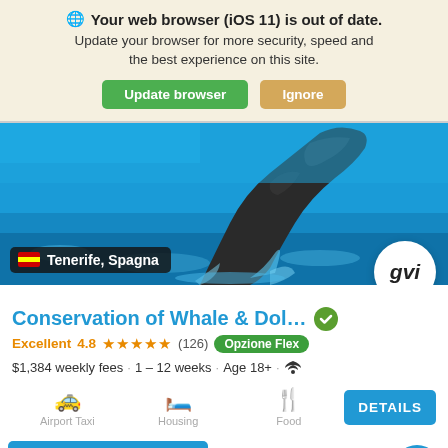Your web browser (iOS 11) is out of date. Update your browser for more security, speed and the best experience on this site.
Update browser | Ignore
[Figure (photo): Whale tail breaching above blue ocean water - hero banner image for GVI conservation program in Tenerife, Spain]
Conservation of Whale & Dol…
Excellent 4.8 ★★★★★ (126) Opzione Flex
$1,384 weekly fees · 1 – 12 weeks · Age 18+ · WiFi
Airport Taxi | Housing | Food | DETAILS
APPLY NOW | from $995 | 4.4 ★★★★★ (46)